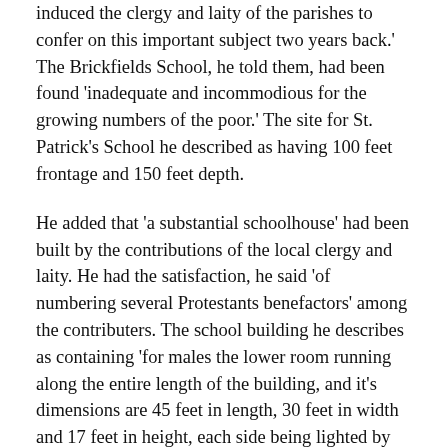induced the clergy and laity of the parishes to confer on this important subject two years back.' The Brickfields School, he told them, had been found 'inadequate and incommodious for the growing numbers of the poor.' The site for St. Patrick's School he described as having 100 feet frontage and 150 feet depth.
He added that 'a substantial schoolhouse' had been built by the contributions of the local clergy and laity. He had the satisfaction, he said 'of numbering several Protestants benefactors' among the contributers. The school building he describes as containing 'for males the lower room running along the entire length of the building, and it's dimensions are 45 feet in length, 30 feet in width and 17 feet in height, each side being lighted by four metal sashed windows and the room ventilated from the top. An upper room for females corresponds to the lower in dimensions and arrangements, and is accessible (by reason of the inclined site of the ground) from the